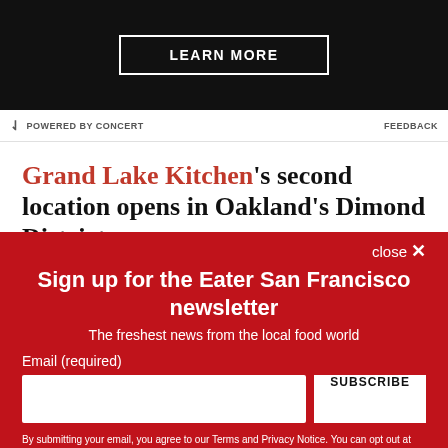[Figure (other): Dark advertisement banner with a 'LEARN MORE' button in white outlined text on black background]
POWERED BY CONCERT   FEEDBACK
Grand Lake Kitchen's second location opens in Oakland's Dimond District
Grand Lake Dimond is now open in Oakland, with a bigger
close ×
Sign up for the Eater San Francisco newsletter
The freshest news from the local food world
Email (required)
SUBSCRIBE
By submitting your email, you agree to our Terms and Privacy Notice. You can opt out at any time. This site is protected by reCAPTCHA and the Google Privacy Policy and Terms of Service apply.